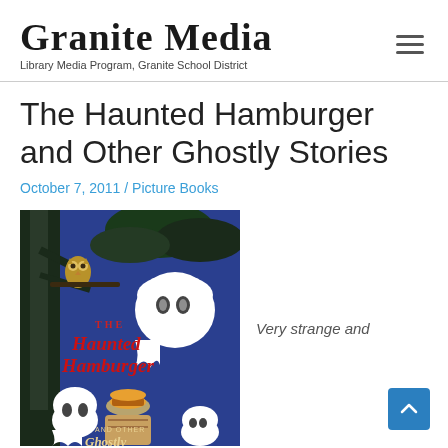Granite Media — Library Media Program, Granite School District
The Haunted Hamburger and Other Ghostly Stories
October 7, 2011 / Picture Books
[Figure (photo): Book cover of 'The Haunted Hamburger and Other Ghostly Stories' showing cartoon ghosts, an owl, trees, and a glowing hamburger on a dark blue background]
Very strange and